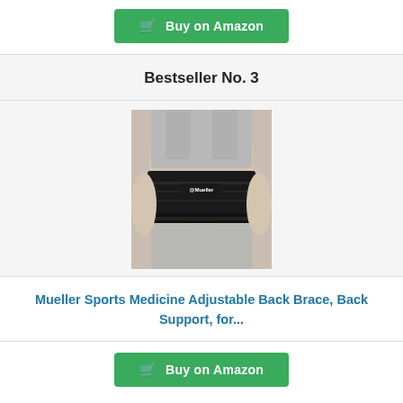Buy on Amazon
Bestseller No. 3
[Figure (photo): Person wearing a Mueller black adjustable back brace/support around the waist, wearing a gray tank top and gray pants.]
Mueller Sports Medicine Adjustable Back Brace, Back Support, for...
Buy on Amazon